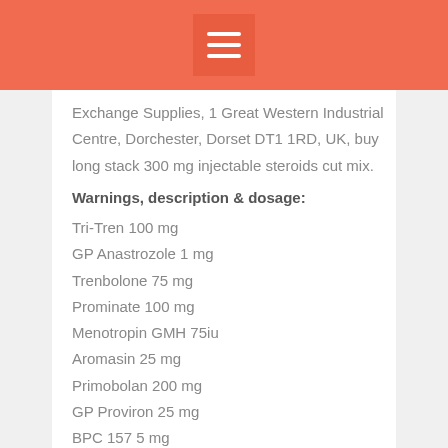Exchange Supplies, 1 Great Western Industrial Centre, Dorchester, Dorset DT1 1RD, UK, buy long stack 300 mg injectable steroids cut mix.
Warnings, description & dosage:
Tri-Tren 100 mg
GP Anastrozole 1 mg
Trenbolone 75 mg
Prominate 100 mg
Menotropin GMH 75iu
Aromasin 25 mg
Primobolan 200 mg
GP Proviron 25 mg
BPC 157 5 mg